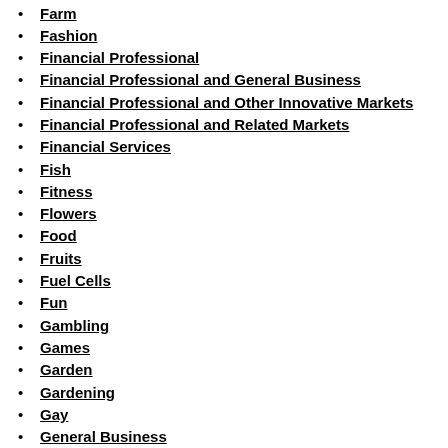Farm
Fashion
Financial Professional
Financial Professional and General Business
Financial Professional and Other Innovative Markets
Financial Professional and Related Markets
Financial Services
Fish
Fitness
Flowers
Food
Fruits
Fuel Cells
Fun
Gambling
Games
Garden
Gardening
Gay
General Business
Geo
Geography
Golf
Government
Hardware
Health
Highways
History
Home
Home and General Business